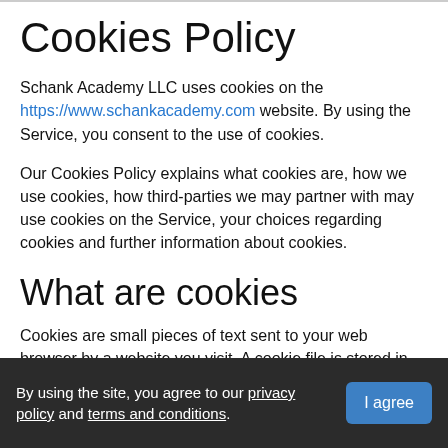Cookies Policy
Schank Academy LLC uses cookies on the https://www.schankacademy.com website. By using the Service, you consent to the use of cookies.
Our Cookies Policy explains what cookies are, how we use cookies, how third-parties we may partner with may use cookies on the Service, your choices regarding cookies and further information about cookies.
What are cookies
Cookies are small pieces of text sent to your web browser by a website you visit. A cookie file is stored in your web browser and allows the Service or a third-party to recognize you and make your next visit easier and the Service more useful to you.
By using the site, you agree to our privacy policy and terms and conditions.